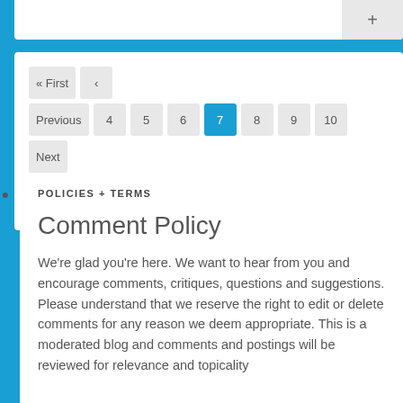+
« First ‹ Previous 4 5 6 7 8 9 10 Next › Last »
POLICIES + TERMS
Comment Policy
We're glad you're here. We want to hear from you and encourage comments, critiques, questions and suggestions. Please understand that we reserve the right to edit or delete comments for any reason we deem appropriate. This is a moderated blog and comments and postings will be reviewed for relevance and topicality